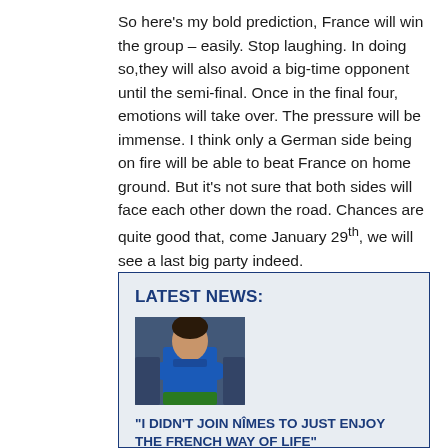So here's my bold prediction, France will win the group – easily.  Stop laughing.  In doing so,they will also avoid a big-time opponent until the semi-final.  Once in the final four, emotions will take over.  The pressure will be immense.  I think only a German side being on fire will be able to beat France on home ground.  But it's not sure that both sides will face each other down the road.  Chances are quite good that, come January 29th, we will see a last big party indeed.
LATEST NEWS:
[Figure (photo): Photo of a man in a blue sports jacket, arms crossed, facing forward]
"I DIDN'T JOIN NÎMES TO JUST ENJOY THE FRENCH WAY OF LIFE"
July 4, 2022